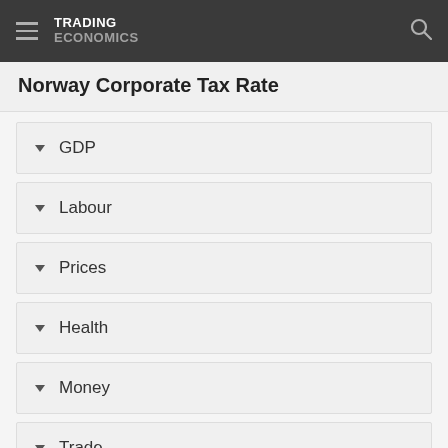TRADING ECONOMICS
Norway Corporate Tax Rate
GDP
Labour
Prices
Health
Money
Trade
Government
Business (partial)